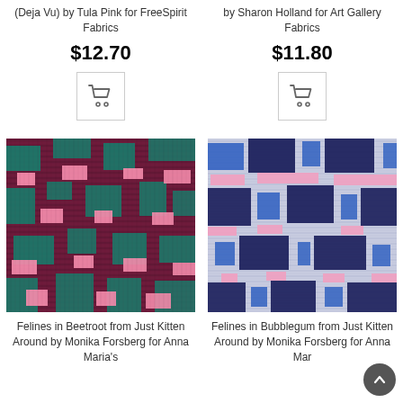(Deja Vu) by Tula Pink for FreeSpirit Fabrics
by Sharon Holland for Art Gallery Fabrics
$12.70
$11.80
[Figure (other): Shopping cart button icon, left product]
[Figure (other): Shopping cart button icon, right product]
[Figure (photo): Fabric swatch: Felines in Beetroot from Just Kitten Around by Monika Forsberg for Anna Maria's - dark teal/magenta/pink geometric woven pattern]
[Figure (photo): Fabric swatch: Felines in Bubblegum from Just Kitten Around by Monika Forsberg for Anna Maria's - blue/navy/pink geometric woven pattern]
Felines in Beetroot from Just Kitten Around by Monika Forsberg for Anna Maria's
Felines in Bubblegum from Just Kitten Around by Monika Forsberg for Anna Mar